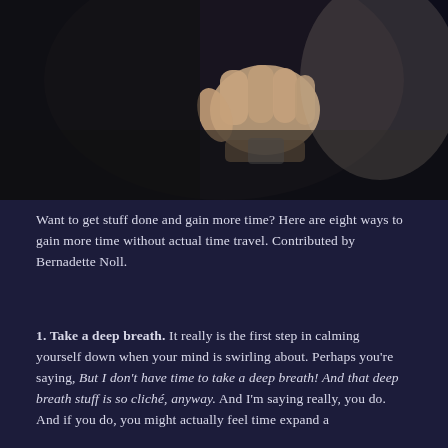[Figure (photo): Close-up photo of a person's hand gripping something, wrist with a watch visible, dark blurred background]
Want to get stuff done and gain more time? Here are eight ways to gain more time without actual time travel. Contributed by Bernadette Noll.
1. Take a deep breath. It really is the first step in calming yourself down when your mind is swirling about. Perhaps you're saying, But I don't have time to take a deep breath! And that deep breath stuff is so cliché, anyway. And I'm saying really, you do. And if you do, you might actually feel time expand a